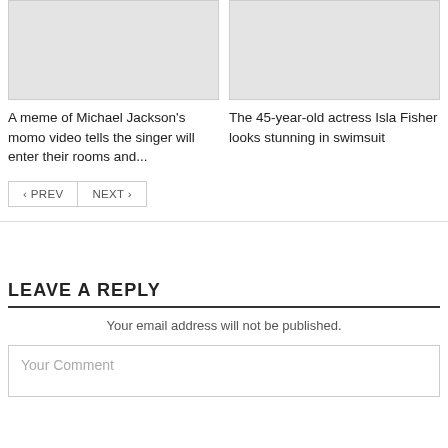[Figure (photo): Gray placeholder image for article 1]
A meme of Michael Jackson's momo video tells the singer will enter their rooms and...
[Figure (photo): Gray placeholder image for article 2]
The 45-year-old actress Isla Fisher looks stunning in swimsuit
< PREV
NEXT >
LEAVE A REPLY
Your email address will not be published.
Your Comment